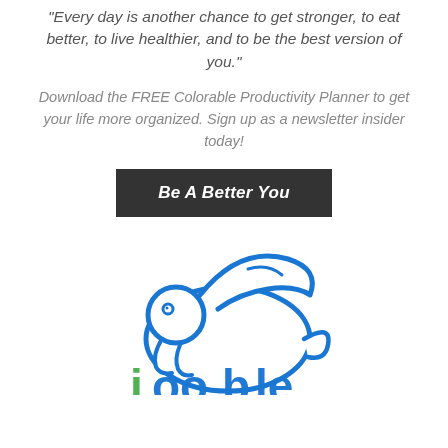“Every day is another chance to get stronger, to eat better, to live healthier, and to be the best version of you.”
Download the FREE Colorable Productivity Planner to get your life more organized. Sign up as a newsletter insider today!
Be A Better You
[Figure (logo): Jooble logo: blue rabbit/hare silhouette above partial green and blue text 'jooble']